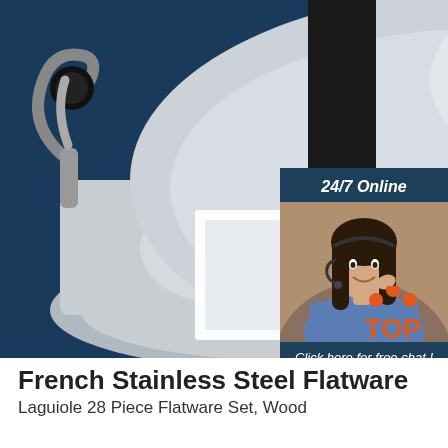[Figure (photo): Stainless steel French press / flatware pot with black handles and knob on a dark navy blue background]
[Figure (infographic): 24/7 Online chat widget overlay with a smiling female customer service representative wearing a headset, text 'Click here for free chat!' and an orange 'QUOTATION' button]
[Figure (logo): TOP logo with three orange dots arranged in a triangle above the word TOP in orange]
French Stainless Steel Flatware
Laguiole 28 Piece Flatware Set, Wood...